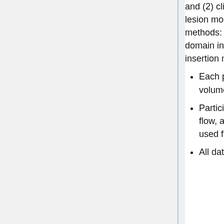and (2) clinical images containing real lung lesions and virtually inserted lesion models. Nodules were virtually inserted using three insertion methods: Techniques A, B, and C, where Technique A is a projection-domain insertion method, and Techniques B and C are image-domain insertion methods.
Each participant is to use their segmentation algorithm to perform volume estimation on nodules with locations that are a priori provided.
Participants are encouraged to use their preferred segmentation work flow, and if possible, provide a NIfTI formatted segmentation map used for their morphological characterizations.
All data will be de-identified, and analyzed in terms of accuracy and